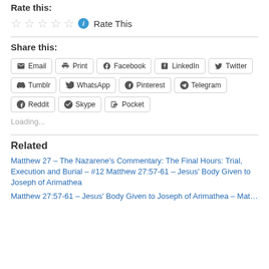Rate this:
[Figure (other): Star rating widget with 5 empty stars, an info icon, and 'Rate This' text]
Share this:
Email | Print | Facebook | LinkedIn | Twitter | Tumblr | WhatsApp | Pinterest | Telegram | Reddit | Skype | Pocket
Loading...
Related
Matthew 27 – The Nazarene's Commentary: The Final Hours: Trial, Execution and Burial – #12 Matthew 27:57-61 – Jesus' Body Given to Joseph of Arimathea
Matthew 27:57-61 – Jesus' Body Given to Joseph of Arimathea – Mat...